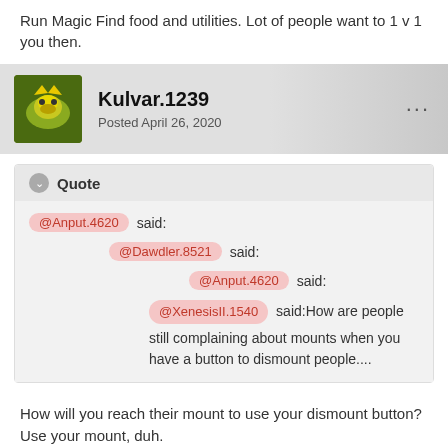Run Magic Find food and utilities. Lot of people want to 1 v 1 you then.
Kulvar.1239
Posted April 26, 2020
Quote
@Anput.4620 said:
@Dawdler.8521 said:
@Anput.4620 said:
@XenesisII.1540 said:How are people still complaining about mounts when you have a button to dismount people....
How will you reach their mount to use your dismount button?Use your mount, duh.